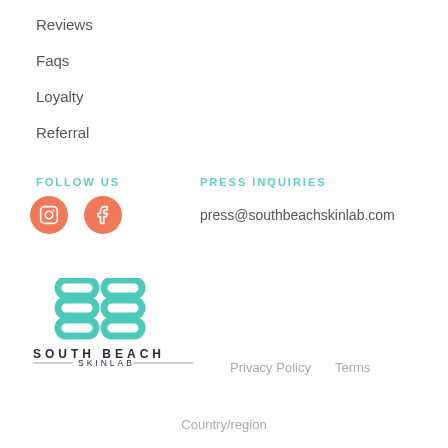Reviews
Faqs
Loyalty
Referral
FOLLOW US
[Figure (illustration): Social media icons: Instagram and Facebook orange circular buttons]
PRESS INQUIRIES
press@southbeachskinlab.com
[Figure (logo): South Beach Skinlab logo with SB monogram in teal and text SOUTH BEACH SKINLAB]
Privacy Policy    Terms
Country/region